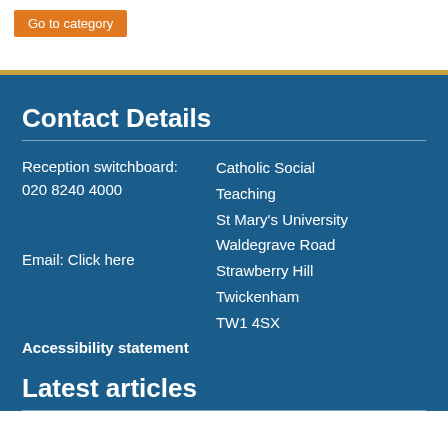Go to category
Contact Details
Reception switchboard:
020 8240 4000

Email: Click here

Accessibility statement
Catholic Social Teaching
St Mary's University
Waldegrave Road
Strawberry Hill
Twickenham
TW1 4SX
Latest articles